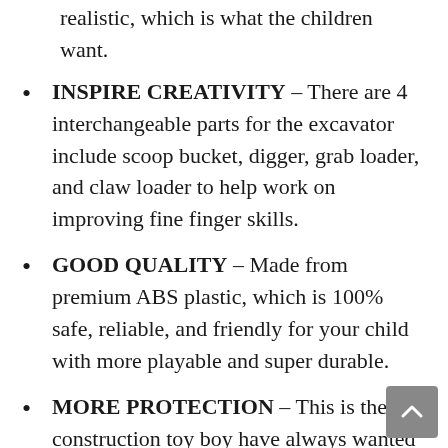realistic, which is what the children want.
INSPIRE CREATIVITY – There are 4 interchangeable parts for the excavator include scoop bucket, digger, grab loader, and claw loader to help work on improving fine finger skills.
GOOD QUALITY – Made from premium ABS plastic, which is 100% safe, reliable, and friendly for your child with more playable and super durable.
MORE PROTECTION – This is the construction toy boy have always wanted to meet their wishes, they will stay away from the electronic products (eg.
GREAT & WONDERFUL GIFT – Perfect for the boy who likes to play construction truck games.